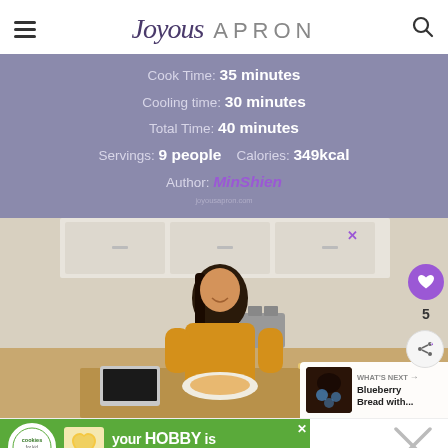Joyous APRON
Cook Time: 35 minutes
Cooling time: 30 minutes
Total Time: 40 minutes
Servings: 9 people   Calories: 349kcal
Author: MinShien
[Figure (photo): A smiling woman in a yellow top sitting at a kitchen table eating a meal with orange juice and a laptop]
WHAT'S NEXT → Blueberry Bread with...
[Figure (other): Advertisement banner: cookies for kid cancer - your HOBBY is their HOPE]